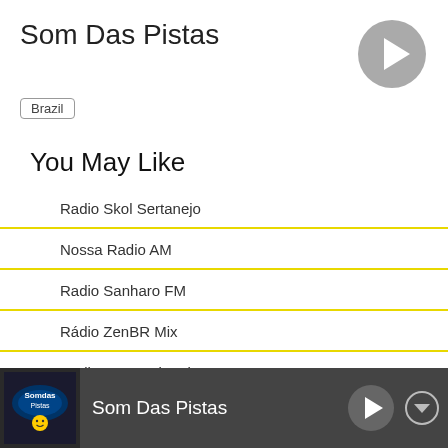Som Das Pistas
Brazil
You May Like
Radio Skol Sertanejo
Nossa Radio AM
Radio Sanharo FM
Rádio ZenBR Mix
Radio 98 FM Litoral
Som Das Pistas is one of the popular radio stations in
Som Das Pistas